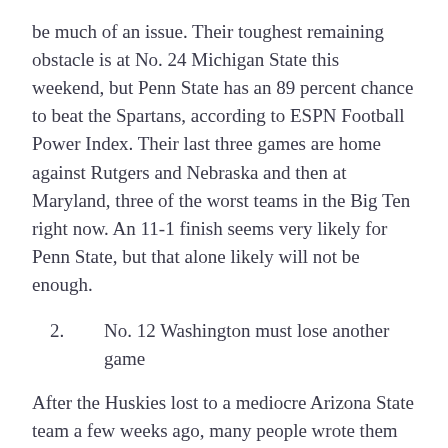be much of an issue. Their toughest remaining obstacle is at No. 24 Michigan State this weekend, but Penn State has an 89 percent chance to beat the Spartans, according to ESPN Football Power Index. Their last three games are home against Rutgers and Nebraska and then at Maryland, three of the worst teams in the Big Ten right now. An 11-1 finish seems very likely for Penn State, but that alone likely will not be enough.
2.    No. 12 Washington must lose another game
After the Huskies lost to a mediocre Arizona State team a few weeks ago, many people wrote them off in large part to their pathetic non-conference schedule. However, if Washington wins out, they will still be in consideration for a top four spot. Rumor that they'd lose another one...